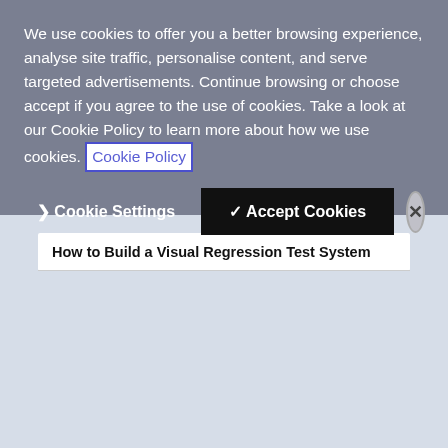We use cookies to offer you a better browsing experience, analyse site traffic, personalise content, and serve targeted advertisements. Continue browsing or choose accept if you agree to the use of cookies. Take a look at our Cookie Policy to learn more about how we use cookies. Cookie Policy
❯ Cookie Settings ✓ Accept Cookies ✕
How to Build a Visual Regression Test System
[Figure (illustration): Dark promotional card with colorful gradient shapes (pink-orange-purple chevron/arrow) in the upper left area, with text 'Start Building', 'Start developing in minutes with free credit on us. No credit card required!' and a 'Sign Up' button at the bottom.]